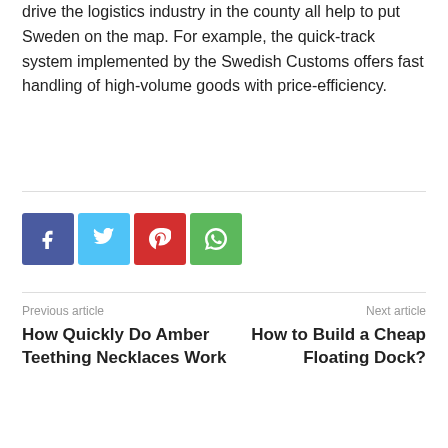drive the logistics industry in the county all help to put Sweden on the map. For example, the quick-track system implemented by the Swedish Customs offers fast handling of high-volume goods with price-efficiency.
[Figure (other): Social share buttons: Facebook (blue), Twitter (light blue), Pinterest (red), WhatsApp (green)]
Previous article
How Quickly Do Amber Teething Necklaces Work
Next article
How to Build a Cheap Floating Dock?